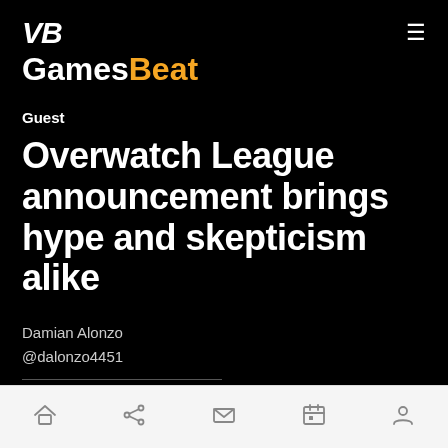VB GamesBeat
Guest
Overwatch League announcement brings hype and skepticism alike
Damian Alonzo
@dalonzo4451
July 20, 2017 4:00 PM